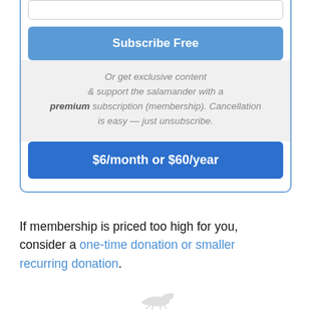Subscribe Free
Or get exclusive content & support the salamander with a premium subscription (membership). Cancellation is easy — just unsubscribe.
$6/month or $60/year
If membership is priced too high for you, consider a one-time donation or smaller recurring donation.
[Figure (illustration): Small salamander logo/icon at bottom center, light gray]